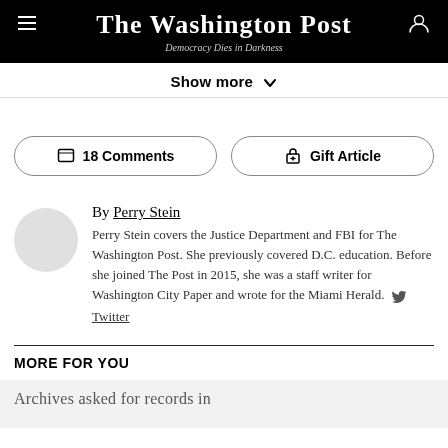The Washington Post — Democracy Dies in Darkness
Show more
18 Comments   Gift Article
By Perry Stein
Perry Stein covers the Justice Department and FBI for The Washington Post. She previously covered D.C. education. Before she joined The Post in 2015, she was a staff writer for Washington City Paper and wrote for the Miami Herald. Twitter
MORE FOR YOU
Archives asked for records in